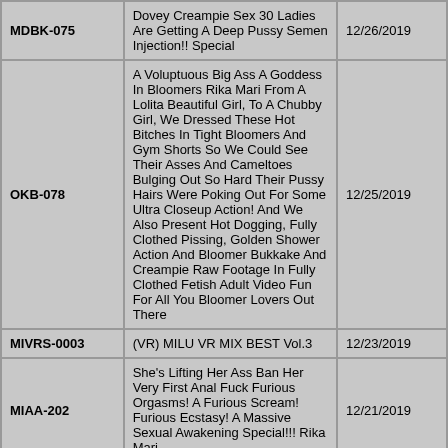| Code | Title | Date |
| --- | --- | --- |
| MDBK-075 | Dovey Creampie Sex 30 Ladies Are Getting A Deep Pussy Semen Injection!! Special | 12/26/2019 |
| OKB-078 | A Voluptuous Big Ass A Goddess In Bloomers Rika Mari From A Lolita Beautiful Girl, To A Chubby Girl, We Dressed These Hot Bitches In Tight Bloomers And Gym Shorts So We Could See Their Asses And Cameltoes Bulging Out So Hard Their Pussy Hairs Were Poking Out For Some Ultra Closeup Action! And We Also Present Hot Dogging, Fully Clothed Pissing, Golden Shower Action And Bloomer Bukkake And Creampie Raw Footage In Fully Clothed Fetish Adult Video Fun For All You Bloomer Lovers Out There | 12/25/2019 |
| MIVRS-0003 | (VR) MILU VR MIX BEST Vol.3 | 12/23/2019 |
| MIAA-202 | She's Lifting Her Ass Ban Her Very First Anal Fuck Furious Orgasms! A Furious Scream! Furious Ecstasy! A Massive Sexual Awakening Special!!! Rika Mari | 12/21/2019 |
| CASMANI-012 | [VR] Ultra Fine Camera Shooting & Licking JOI | 12/19/2019 |
| DASD-610 | A Beautiful Y*********l In Uniform Undergoes H********m Brainwashing And Although She Resisted, She Was Transformed Into A Horny Bitch School Edition | 12/18/2019 |